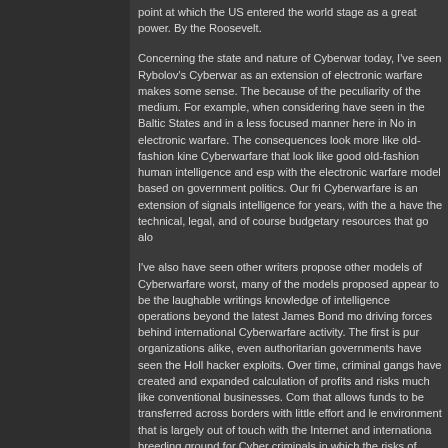point at which the US entered the world stage as a great power. By the Roosevelt.
Concerning the state and nature of Cyberwar today, I've seen Rybolov's Cyberwar as an extension of electronic warfare makes some sense. The because of the peculiarity of the medium. For example, when considering have seen in the Baltic States and in a less focused manner here in No in electronic warfare. The consequences look more like old-fashion kine Cyberwarfare that look like good old-fashion human intelligence and esp with the electronic warfare model based on government politics. Our fri Cyberwarfare is an extension of signals intelligence for years, with the a have the technical, legal, and of course budgetary resources that go alo
I've also have seen other writers propose other models of Cyberwarfare worst, many of the models proposed appear to be the laughable writings knowledge of intelligence operations beyond the latest James Bond mo driving forces behind international Cyberwarfare activity. The first is pur organizations alike, even authoritarian governments have seen the Holl hacker exploits. Over time, criminal gangs have created and expanded calculation of profits and risks much like conventional businesses. Com that allows funds to be transferred across borders with little effort and le environment that is largely out of touch with the Internet and internationa breeding ground for Cyber criminals in which the risks of cross-border c domestic criminal activity.
As successful Cyber criminal gangs have emerged in totalitarian regime the governments involved would eventually take an interest in both their reasons that totalitarian government might want to do this. Perhaps the officials would be drawn to share in the profits in exchange for protection nations could also leverage their services and techniques at a fraction